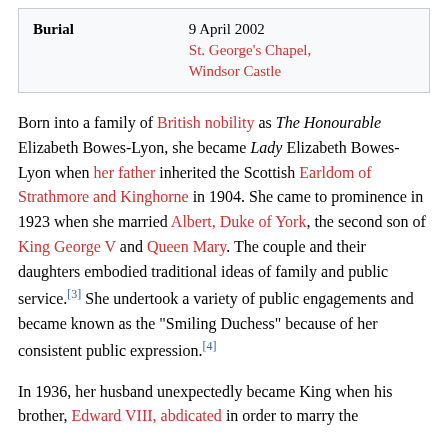| Burial | 9 April 2002
St. George's Chapel, Windsor Castle |
Born into a family of British nobility as The Honourable Elizabeth Bowes-Lyon, she became Lady Elizabeth Bowes-Lyon when her father inherited the Scottish Earldom of Strathmore and Kinghorne in 1904. She came to prominence in 1923 when she married Albert, Duke of York, the second son of King George V and Queen Mary. The couple and their daughters embodied traditional ideas of family and public service.[3] She undertook a variety of public engagements and became known as the "Smiling Duchess" because of her consistent public expression.[4]
In 1936, her husband unexpectedly became King when his brother, Edward VIII, abdicated in order to marry the